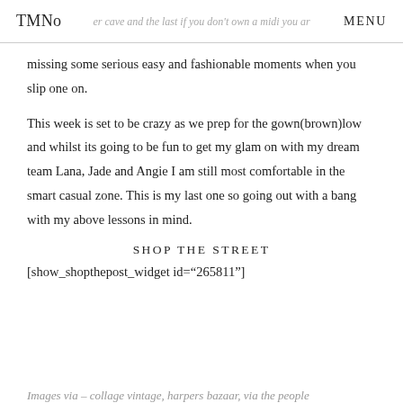TMNo  er cave and the last if you don't own a midi you ar  MENU
missing some serious easy and fashionable moments when you slip one on.
This week is set to be crazy as we prep for the gown(brown)low and whilst its going to be fun to get my glam on with my dream team Lana, Jade and Angie I am still most comfortable in the smart casual zone. This is my last one so going out with a bang with my above lessons in mind.
SHOP THE STREET
[show_shopthepost_widget id="265811"]
Images via – collage vintage, harpers bazaar, via the people